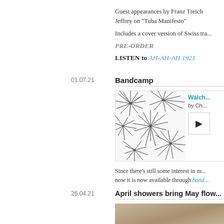Guest appearances by Franz Treich... Jeffrey on "Tuba Manifesto"
Includes a cover version of Swiss tra...
PRE-ORDER
LISTEN to AH-AH-AH 1921
01.07.21   Bandcamp
[Figure (screenshot): Bandcamp embed widget showing abstract line art album cover with play button, title 'Walch...' by Ch...]
Since there’s still some interest in m... now it is now available through band...
26.04.21   April showers bring May flow...
[Figure (photo): Partial preview image with beige/tan tones]